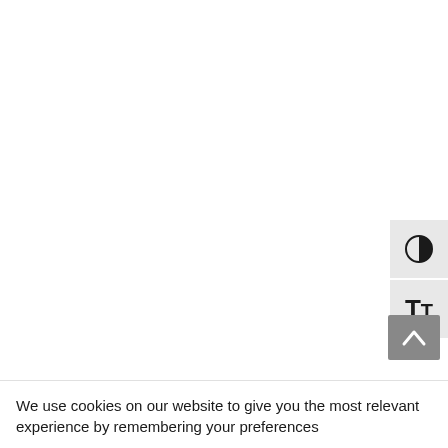[Figure (screenshot): Two UI accessibility buttons on the right side: a contrast toggle button (half-filled circle icon) and a text size button (TT icon), both on light gray backgrounds]
[Figure (screenshot): A gray scroll-to-top button with an upward arrow, positioned at the bottom right]
We use cookies on our website to give you the most relevant experience by remembering your preferences